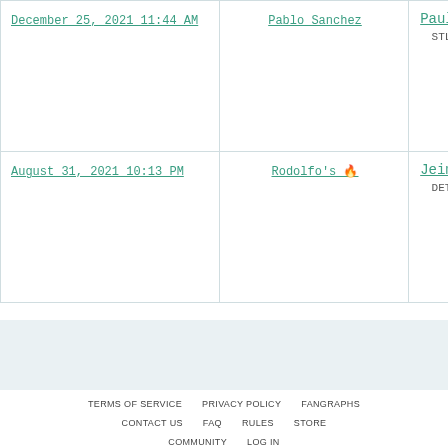| Date | Thread | Player |
| --- | --- | --- |
| December 25, 2021 11:44 AM | Pablo Sanchez | Paul Golo… / STL 1B R |
| August 31, 2021 10:13 PM | Rodolfo's 🔥 | Jeimer Ca… / DET 3B S |
TERMS OF SERVICE   PRIVACY POLICY   FANGRAPHS   CONTACT US   FAQ   RULES   STORE   COMMUNITY   LOG IN